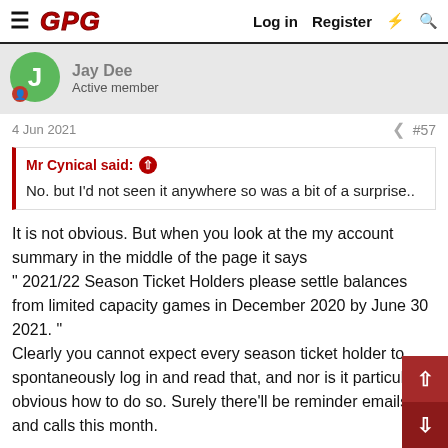GPG  Log in  Register
Jay Dee
Active member
4 Jun 2021  #57
Mr Cynical said: ↑
No. but I'd not seen it anywhere so was a bit of a surprise..
It is not obvious. But when you look at the my account summary in the middle of the page it says " 2021/22 Season Ticket Holders please settle balances from limited capacity games in December 2020 by June 30 2021. "
Clearly you cannot expect every season ticket holder to spontaneously log in and read that, and nor is it particularly obvious how to do so. Surely there'll be reminder emails and calls this month.